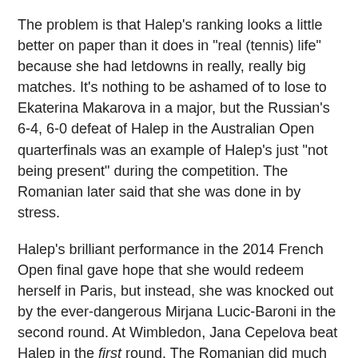The problem is that Halep's ranking looks a little better on paper than it does in "real (tennis) life" because she had letdowns in really, really big matches. It's nothing to be ashamed of to lose to Ekaterina Makarova in a major, but the Russian's 6-4, 6-0 defeat of Halep in the Australian Open quarterfinals was an example of Halep's just "not being present" during the competition. The Romanian later said that she was done in by stress.
Halep's brilliant performance in the 2014 French Open final gave hope that she would redeem herself in Paris, but instead, she was knocked out by the ever-dangerous Mirjana Lucic-Baroni in the second round. At Wimbledon, Jana Cepelova beat Halep in the first round. The Romanian did much better at the U.S. Open, taking out Vika Azarenka in the quarterfinals, but then losing to eventual champion Flavia Pennetta in the semifinals.
Despite what she often says about not feeling pressure, it's obvious that Halep feels a lot of pressure during her biggest matches. Halep recently announced that Darren Cahill will